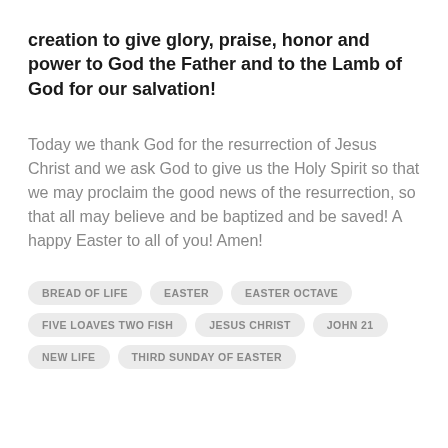creation to give glory, praise, honor and power to God the Father and to the Lamb of God for our salvation!
Today we thank God for the resurrection of Jesus Christ and we ask God to give us the Holy Spirit so that we may proclaim the good news of the resurrection, so that all may believe and be baptized and be saved! A happy Easter to all of you! Amen!
BREAD OF LIFE
EASTER
EASTER OCTAVE
FIVE LOAVES TWO FISH
JESUS CHRIST
JOHN 21
NEW LIFE
THIRD SUNDAY OF EASTER